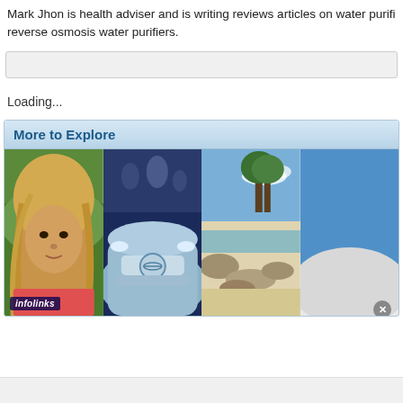Mark Jhon is health adviser and is writing reviews articles on water purifiers. reverse osmosis water purifiers.
[Figure (screenshot): A search input bar, empty, with light gray background]
Loading...
More to Explore
[Figure (photo): Four thumbnail images in a row: a blonde woman outdoors, a silver Nissan Leaf car front, a tropical beach with rocks, and a partial blue-sky image. An 'infolinks' badge appears on the first image. A close button appears at bottom right.]